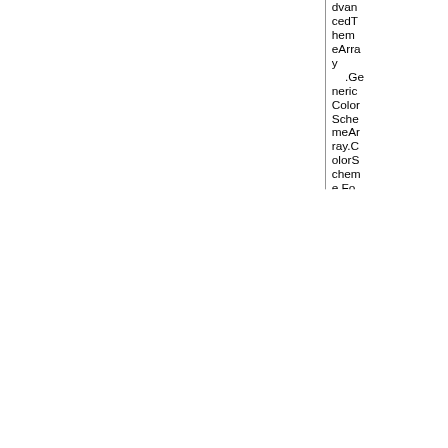dvancedThemeArray
    .GenericColorSchemeArray.ColorScheme.Font GetStoreOptions.BasicThemeArray.The